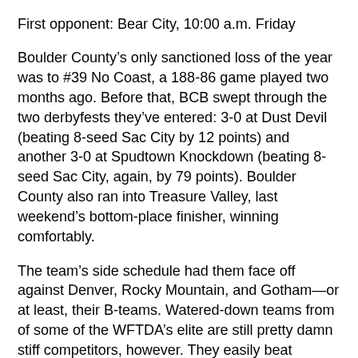First opponent: Bear City, 10:00 a.m. Friday
Boulder County's only sanctioned loss of the year was to #39 No Coast, a 188-86 game played two months ago. Before that, BCB swept through the two derbyfests they've entered: 3-0 at Dust Devil (beating 8-seed Sac City by 12 points) and another 3-0 at Spudtown Knockdown (beating 8-seed Sac City, again, by 79 points). Boulder County also ran into Treasure Valley, last weekend's bottom-place finisher, winning comfortably.
The team's side schedule had them face off against Denver, Rocky Mountain, and Gotham—or at least, their B-teams. Watered-down teams from of some of the WFTDA's elite are still pretty damn stiff competitors, however. They easily beat Rocky's Contenders squad and lost the other two games by give-or-take 35 points. Facing players from a Division 1 league in any context is a good test, but will their grades transfer over to the full-power Division 2 squads Boulder will be up against this weekend?